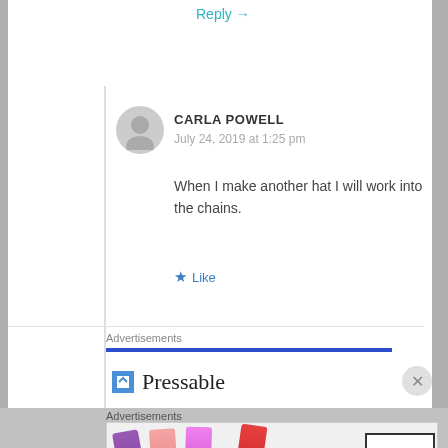Reply →
CARLA POWELL
July 24, 2019 at 1:25 pm
When I make another hat I will work into the chains.
★ Like
Advertisements
Pressable
Advertisements
[Figure (illustration): MAC cosmetics advertisement showing lipsticks and MAC logo with SHOP NOW button]